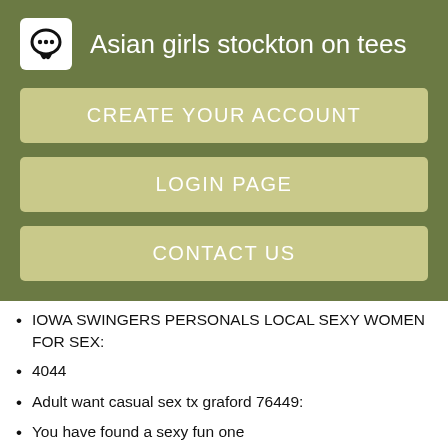Asian girls stockton on tees
CREATE YOUR ACCOUNT
LOGIN PAGE
CONTACT US
IOWA SWINGERS PERSONALS LOCAL SEXY WOMEN FOR SEX:
4044
Adult want casual sex tx graford 76449:
You have found a sexy fun one
SEX TOY AT REVERE:
569
Newcastle upon tyne experience newcastle upon tyne reviews: